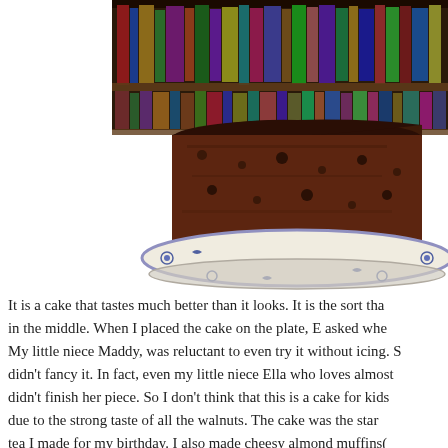[Figure (photo): A slice of dark chocolate walnut cake on a blue and white floral patterned plate, with bookshelves visible in the background.]
It is a cake that tastes much better than it looks. It is the sort that is gooey in the middle. When I placed the cake on the plate, E asked whe... My little niece Maddy, was reluctant to even try it without icing. S... didn't fancy it. In fact, even my little niece Ella who loves almost... didn't finish her piece. So I don't think that this is a cake for kids... due to the strong taste of all the walnuts. The cake was the star... tea I made for my birthday. I also made cheesy almond muffins(... poppy seed hair, olive cups, sunflower seed pease and sundri...